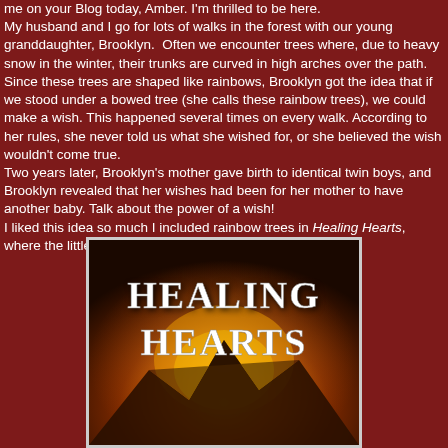me on your Blog today, Amber. I'm thrilled to be here. My husband and I go for lots of walks in the forest with our young granddaughter, Brooklyn. Often we encounter trees where, due to heavy snow in the winter, their trunks are curved in high arches over the path. Since these trees are shaped like rainbows, Brooklyn got the idea that if we stood under a bowed tree (she calls these rainbow trees), we could make a wish. This happened several times on every walk. According to her rules, she never told us what she wished for, or she believed the wish wouldn't come true. Two years later, Brooklyn's mother gave birth to identical twin boys, and Brooklyn revealed that her wishes had been for her mother to have another baby. Talk about the power of a wish! I liked this idea so much I included rainbow trees in Healing Hearts, where the little girl in the story wishes for a new mommy.
[Figure (illustration): Book cover for 'Healing Hearts' featuring large white serif text on a fiery orange and dark background with mountain silhouette at bottom]